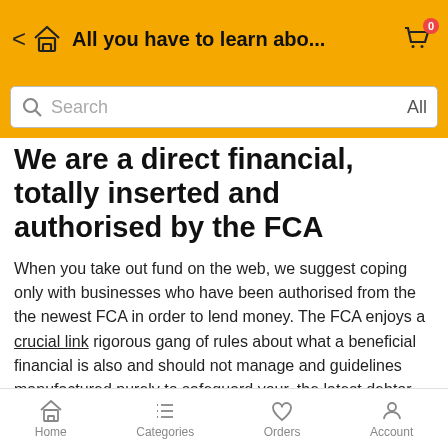All you have to learn abo...
We are a direct financial, totally inserted and authorised by the FCA
When you take out fund on the web, we suggest coping only with businesses who have been authorised from the the newest FCA in order to lend money. The FCA enjoys a crucial link rigorous gang of rules about what a beneficial financial is also and should not manage and guidelines manufactured purely to safeguard your, the latest debtor.
Moneyboat are totally authorised to have lending because of the FCA, adhering to almost all their small print, making us a safer QuickQuid solution.
Home   Categories   Orders   Account